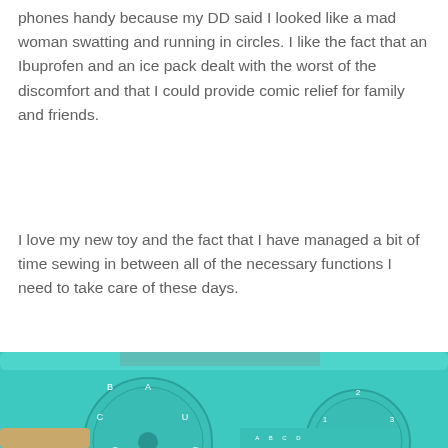phones handy because my DD said I looked like a mad woman swatting and running in circles. I like the fact that an Ibuprofen and an ice pack dealt with the worst of the discomfort and that I could provide comic relief for family and friends.
I love my new toy and the fact that I have managed a bit of time sewing in between all of the necessary functions I need to take care of these days.
[Figure (photo): Close-up photo of a teal/turquoise sewing machine showing two dial controls and a stitch selector panel at the bottom right]